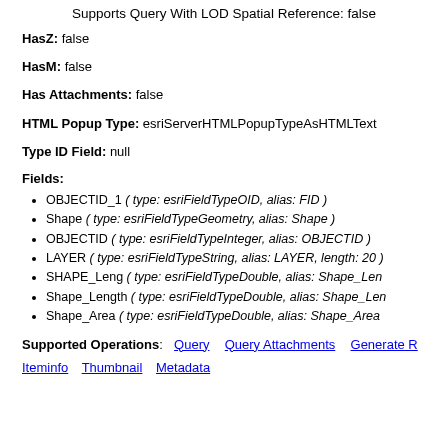Supports Query With LOD Spatial Reference: false
HasZ: false
HasM: false
Has Attachments: false
HTML Popup Type: esriServerHTMLPopupTypeAsHTMLText
Type ID Field: null
Fields:
OBJECTID_1 ( type: esriFieldTypeOID, alias: FID )
Shape ( type: esriFieldTypeGeometry, alias: Shape )
OBJECTID ( type: esriFieldTypeInteger, alias: OBJECTID )
LAYER ( type: esriFieldTypeString, alias: LAYER, length: 20 )
SHAPE_Leng ( type: esriFieldTypeDouble, alias: Shape_Len )
Shape_Length ( type: esriFieldTypeDouble, alias: Shape_Len )
Shape_Area ( type: esriFieldTypeDouble, alias: Shape_Area )
Supported Operations: Query  Query Attachments  Generate R
Iteminfo  Thumbnail  Metadata